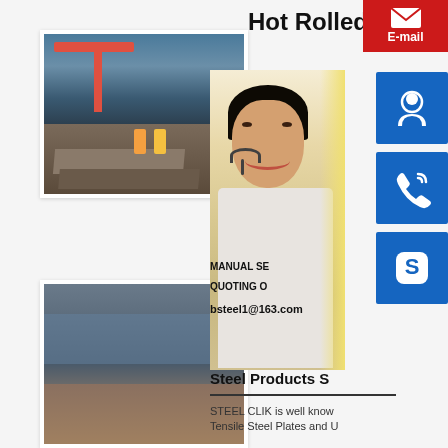Hot Rolled
[Figure (photo): Steel factory floor with red overhead crane, workers in hard hats, and large steel plates being processed]
[Figure (photo): Close-up of wet/rusty hot rolled steel plates stacked together]
[Figure (photo): Customer service woman with headset smiling, overlaid with blue icon buttons for online support, phone/skype contact, and Skype. E-mail button in red at top right. Text: MANUAL SERVICE, QUOTING O, bsteel1@163.com]
MANUAL SE
QUOTING O
bsteel1@163.com
Steel Products S
STEEL CLIK is well know
Tensile Steel Plates and U